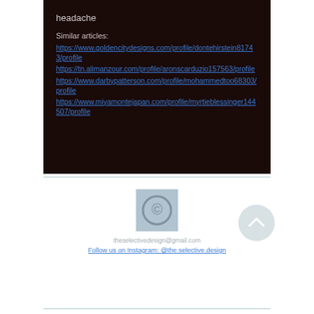headache
Similar articles:
https://www.goldencitydesigns.com/profile/dontehirstein81743/profile
https://tn.alimanzour.com/profile/aronscarduzio157563/profile
https://www.darbypatterson.com/profile/mohammedtoo68303/profile
https://www.miyamontejapan.com/profile/myrtieblessinger144507/profile
[Figure (logo): Circular logo with stylized C letter on light blue-grey square background]
theselectivedesign@gmail.com
Follow us on Instagram: @the.selective.design